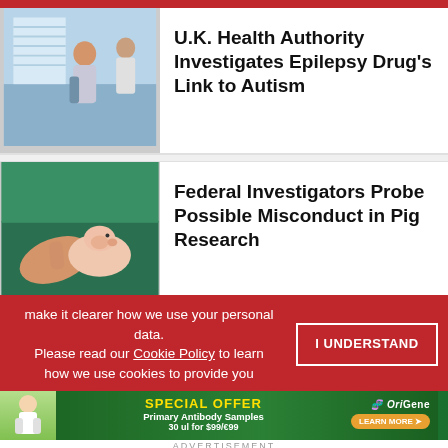[Figure (photo): Pregnant woman in a medical setting with a healthcare professional]
U.K. Health Authority Investigates Epilepsy Drug's Link to Autism
[Figure (photo): Hands holding a small piglet in what appears to be a farm or lab setting]
Federal Investigators Probe Possible Misconduct in Pig Research
make it clearer how we use your personal data. Please read our Cookie Policy to learn how we use cookies to provide you
I UNDERSTAND
[Figure (infographic): OriGene special offer advertisement: Primary Antibody Samples 30 ul for $99/€99]
ADVERTISEMENT